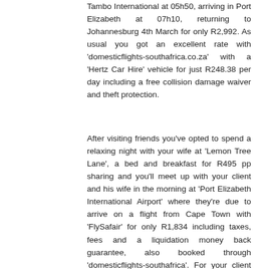Tambo International at 05h50, arriving in Port Elizabeth at 07h10, returning to Johannesburg 4th March for only R2,992. As usual you got an excellent rate with 'domesticflights-southafrica.co.za' with a 'Hertz Car Hire' vehicle for just R248.38 per day including a free collision damage waiver and theft protection.
After visiting friends you've opted to spend a relaxing night with your wife at 'Lemon Tree Lane', a bed and breakfast for R495 pp sharing and you'll meet up with your client and his wife in the morning at 'Port Elizabeth International Airport' where they're due to arrive on a flight from Cape Town with 'FlySafair' for only R1,834 including taxes, fees and a liquidation money back guarantee, also booked through 'domesticflights-southafrica'. For your client you booked a WV Polo Vivo vehicle from Budget through 'domesticflights-southafrica.co.za' with an air conditioner and manual transmission for only R1,916 for eight days as they plan to do a bit of travelling after the weekend.